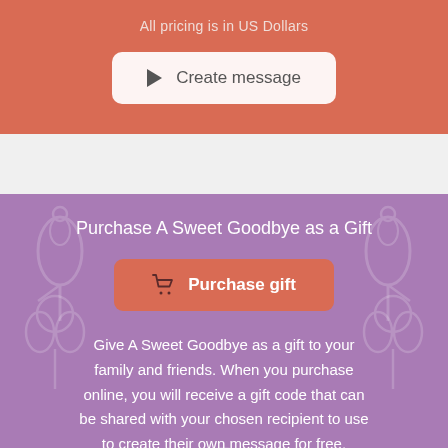All pricing is in US Dollars
[Figure (screenshot): Create message button with play icon]
Purchase A Sweet Goodbye as a Gift
[Figure (screenshot): Purchase gift button with shopping cart icon]
Give A Sweet Goodbye as a gift to your family and friends. When you purchase online, you will receive a gift code that can be shared with your chosen recipient to use to create their own message for free.